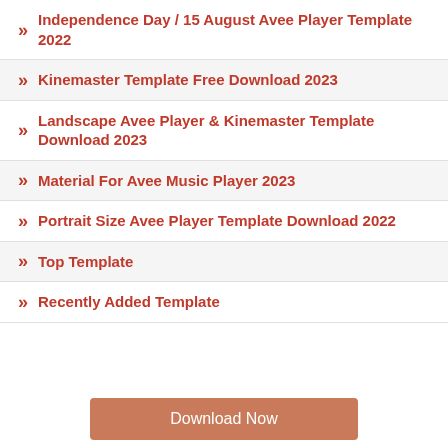Independence Day / 15 August Avee Player Template 2022
Kinemaster Template Free Download 2023
Landscape Avee Player & Kinemaster Template Download 2023
Material For Avee Music Player 2023
Portrait Size Avee Player Template Download 2022
Top Template
Recently Added Template
Download Now